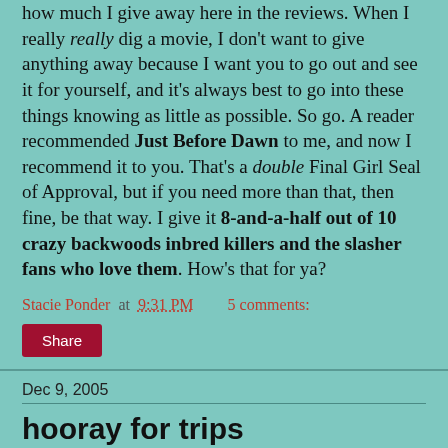how much I give away here in the reviews. When I really really dig a movie, I don't want to give anything away because I want you to go out and see it for yourself, and it's always best to go into these things knowing as little as possible. So go. A reader recommended Just Before Dawn to me, and now I recommend it to you. That's a double Final Girl Seal of Approval, but if you need more than that, then fine, be that way. I give it 8-and-a-half out of 10 crazy backwoods inbred killers and the slasher fans who love them. How's that for ya?
Stacie Ponder at 9:31 PM   5 comments:
Share
Dec 9, 2005
hooray for trips
Alright, alright...I've been a little slacky. And now I'm going away for the weekend, so I won't be updating again until Monday. While you must go without new Final Girl for two more days, at least I'm telling you about it. You won't some